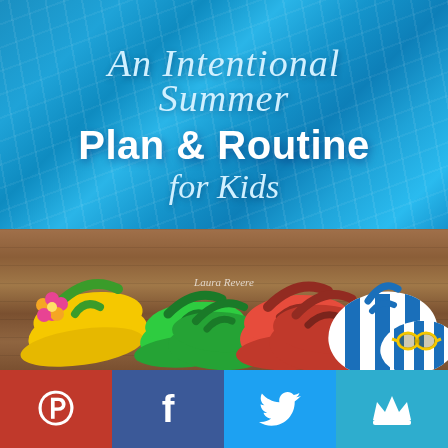[Figure (illustration): Book/blog cover image: blue swimming pool water background with colorful flip flops arranged on a wooden deck. Title text overlaid on the pool water reads 'An Intentional Summer Plan & Routine for Kids'. Below is a wooden deck with yellow, green, red, and blue-striped flip flops plus yellow sunglasses.]
An Intentional Summer Plan & Routine for Kids
[Figure (infographic): Social sharing bar with four buttons: Pinterest (red, P icon), Facebook (dark blue, f icon), Twitter (light blue, bird icon), Crown/other (teal, crown icon)]